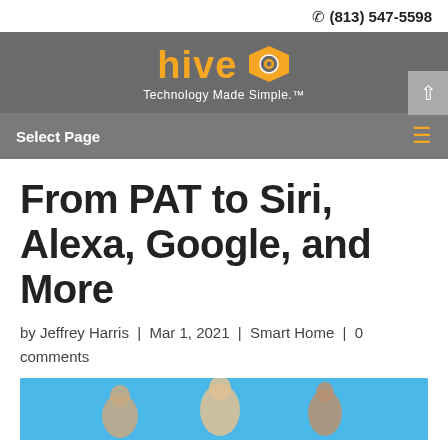(813) 547-5598
[Figure (logo): Hive Technology logo with orange text and honeycomb hexagon icon, tagline 'Technology Made Simple.']
Select Page
From PAT to Siri, Alexa, Google, and More
by Jeffrey Harris | Mar 1, 2021 | Smart Home | 0 comments
[Figure (photo): Photo of group of people outdoors with blue sky background, partially visible at bottom of page]